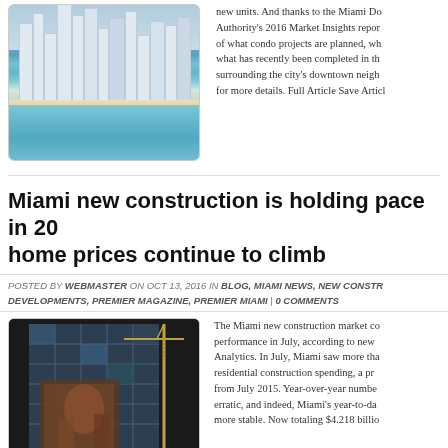[Figure (photo): Aerial photo of Miami skyline with beach and turquoise water]
new units. And thanks to the Miami Downtown Development Authority's 2016 Market Insights report, we have a snapshot of what condo projects are planned, which are underway and what has recently been completed in the neighborhoods surrounding the city's downtown neighborhood. Click below for more details. Full Article Save Article
Miami new construction is holding pace in 2016 as home prices continue to climb
POSTED BY WEBMASTER ON OCT 13, 2016 IN BLOG, MIAMI NEWS, NEW CONSTRUCTION DEVELOPMENTS, PREMIER MAGAZINE, PREMIER MIAMI | 0 COMMENTS
[Figure (photo): Construction site photo of a building under construction with glass facade and crane]
The Miami new construction market continued its strong performance in July, according to new numbers from Dodge Analytics. In July, Miami saw more than $791 million in residential construction spending, a progress from July 2015. Year-over-year numbers tend to be erratic, and indeed, Miami's year-to-date numbers are more stable. Now totaling $4.218 billion